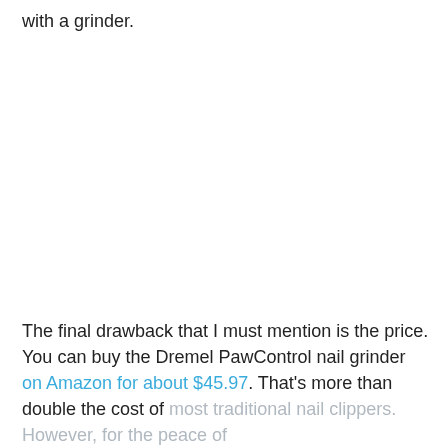with a grinder.
The final drawback that I must mention is the price. You can buy the Dremel PawControl nail grinder on Amazon for about $45.97. That's more than double the cost of most traditional nail clippers. However, for the peace of